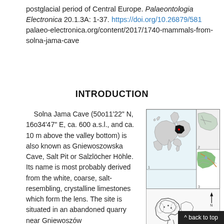postglacial period of Central Europe. Palaeontologia Electronica 20.1.3A: 1-37. https://doi.org/10.26879/581 palaeo-electronica.org/content/2017/1740-mammals-from-solna-jama-cave
INTRODUCTION
Solna Jama Cave (50o11'22" N, 16o34'47" E, ca. 600 a.s.l., and ca. 10 m above the valley bottom) is also known as Gniewoszowska Cave, Salt Pit or Salzlöcher Höhle. Its name is most probably derived from the white, coarse, salt-resembling, crystalline limestones which form the lens. The site is situated in an abandoned quarry near Gniewoszów
[Figure (map): Map of Europe with Poland highlighted in black (inset 1), regional map showing cave location (inset 2), topographic/geological map detail (inset 3), and cave plan diagram (inset 4) with north arrow and scale bar.]
Figure 1.